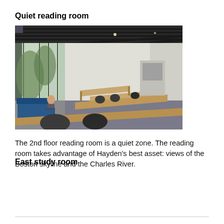Quiet reading room
[Figure (photo): Interior photo of a library reading room with floor-to-ceiling windows on the left showing trees outside, blue seating, wooden benches, and study tables with chairs extending into the background under a dark slatted ceiling.]
The 2nd floor reading room is a quiet zone. The reading room takes advantage of Hayden’s best asset: views of the Boston skyline and the Charles River.
East study room